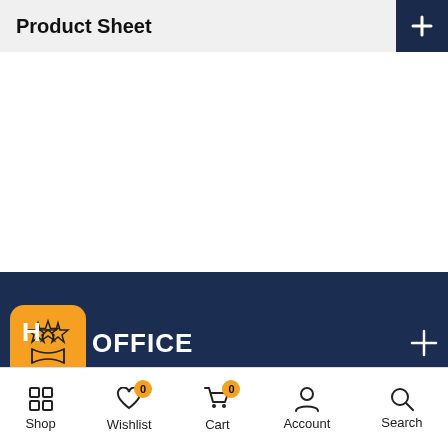Product Sheet
[Figure (screenshot): White empty content area below the product sheet header]
[Figure (logo): Orange rounded square icon with three stars and a ribbon/award emblem]
HOME OFFICE
SHOP
Shop  Wishlist  Cart  Account  Search